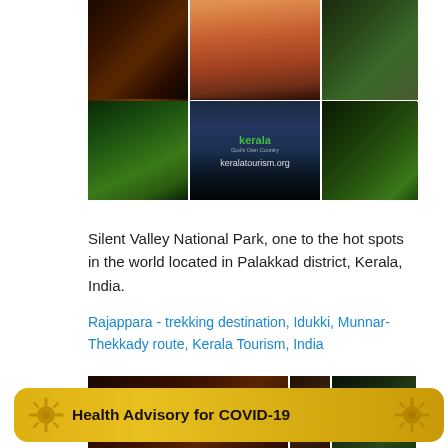[Figure (photo): Collage of Kerala tourism photos: Kathakali dancer, silhouette of people at sunset, festival crowd, river landscape, Kerala tourism logo with keralatourism.org, bison on green hills]
Silent Valley National Park, one to the hot spots in the world located in Palakkad district, Kerala, India.
Rajappara - trekking destination, Idukki, Munnar-Thekkady route, Kerala Tourism, India
[Figure (photo): Bottom row of Kerala tourism photos: traditional performer on left, temple on right]
Health Advisory for COVID-19